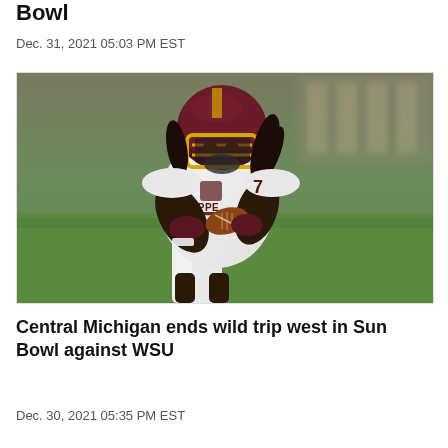Bowl
Dec. 31, 2021 05:03 PM EST
[Figure (photo): Central Michigan football player wearing white jersey number 7 with 'CHIPPE' visible on chest, dark maroon/brown helmet with yellow face mask, carrying a football, running on a field with green grass background. Player has maroon gloves.]
Central Michigan ends wild trip west in Sun Bowl against WSU
Dec. 30, 2021 05:35 PM EST